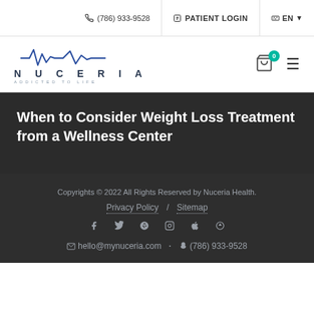(786) 933-9528  PATIENT LOGIN  EN
[Figure (logo): Nuceria Health logo with waveform graphic and text 'NUCERIA ADDICTED TO LIFE']
When to Consider Weight Loss Treatment from a Wellness Center
Copyrights © 2022 All Rights Reserved by Nuceria Health. Privacy Policy / Sitemap  hello@mynuceria.com · (786) 933-9528